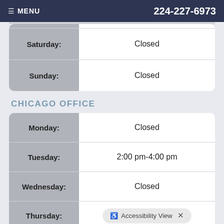≡ MENU   224-227-6973
| Day | Hours |
| --- | --- |
| Saturday: | Closed |
| Sunday: | Closed |
CHICAGO OFFICE
| Day | Hours |
| --- | --- |
| Monday: | Closed |
| Tuesday: | 2:00 pm-4:00 pm |
| Wednesday: | Closed |
| Thursday: |  |
Accessibility View  ×